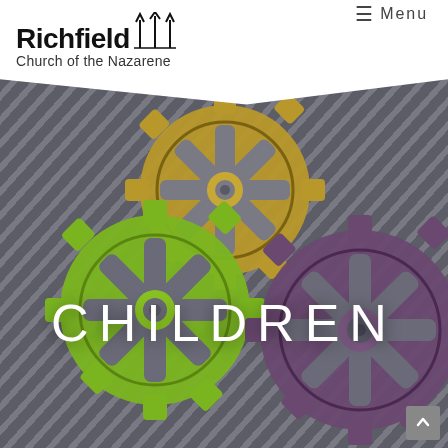Richfield Church of the Nazarene — Menu
[Figure (photo): Large decorative gear sculptures on a striped metal wall background. Three interlocking gears: a gold/yellow gear at top center, a bright green gear at bottom left, and a purple gear at right. The word CHILDREN is overlaid in large white letters across the center of the image.]
CHILDREN